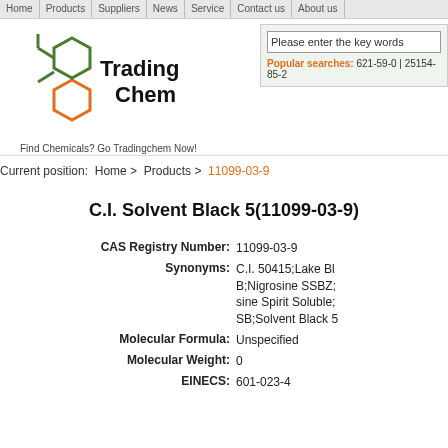Home | Products | Suppliers | News | Service | Contact us | About us
[Figure (logo): TradingChem logo with green and orange hexagonal molecular structure icon, text 'Trading Chem', tagline 'Find Chemicals? Go Tradingchem Now!']
Please enter the key words
Popular searches: 621-59-0 | 25154-85-2
Current position: Home > Products > 11099-03-9
C.I. Solvent Black 5(11099-03-9)
| Field | Value |
| --- | --- |
| CAS Registry Number: | 11099-03-9 |
| Synonyms: | C.I. 50415;Lake Bl B;Nigrosine SSBZ; sine Spirit Soluble; SB;Solvent Black 5 |
| Molecular Formula: | Unspecified |
| Molecular Weight: | 0 |
| EINECS: | 601-023-4 |